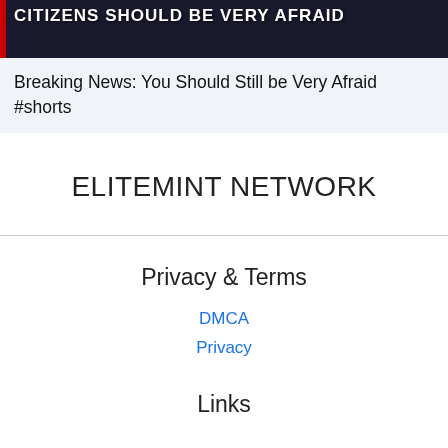[Figure (screenshot): Dark blue/black thumbnail image with red left stripe and bold white uppercase text reading 'CITIZENS SHOULD BE VERY AFRAID']
Breaking News: You Should Still be Very Afraid #shorts
ELITEMINT NETWORK
Privacy & Terms
DMCA
Privacy
Links
© Copyright : youtube.com